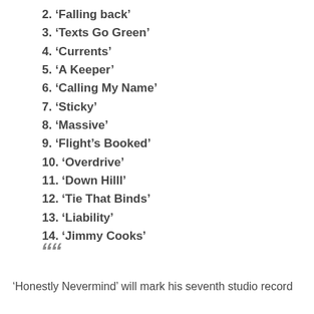2. ‘Falling back’
3. ‘Texts Go Green’
4. ‘Currents’
5. ‘A Keeper’
6. ‘Calling My Name’
7. ‘Sticky’
8. ‘Massive’
9. ‘Flight’s Booked’
10. ‘Overdrive’
11. ‘Down Hilll’
12. ‘Tie That Binds’
13. ‘Liability’
14. ‘Jimmy Cooks’
““
‘Honestly Nevermind’ will mark his seventh studio record